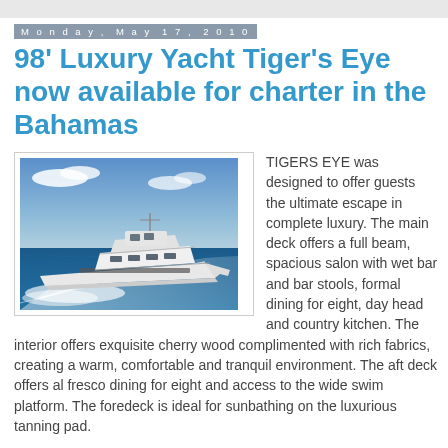Monday, May 17, 2010
98' Luxury Yacht Tiger's Eye now available for charter in the Bahamas
[Figure (photo): A luxury white motor yacht speeding across blue ocean water, creating a large wake, photographed from the side in clear sunny conditions.]
TIGERS EYE was designed to offer guests the ultimate escape in complete luxury. The main deck offers a full beam, spacious salon with wet bar and bar stools, formal dining for eight, day head and country kitchen. The interior offers exquisite cherry wood complimented with rich fabrics, creating a warm, comfortable and tranquil environment. The aft deck offers al fresco dining for eight and access to the wide swim platform. The foredeck is ideal for sunbathing on the luxurious tanning pad.